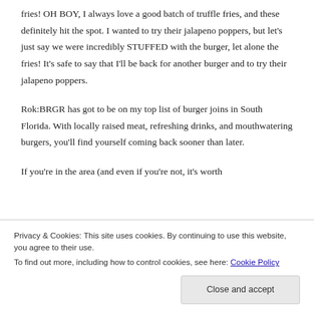fries! OH BOY, I always love a good batch of truffle fries, and these definitely hit the spot. I wanted to try their jalapeno poppers, but let's just say we were incredibly STUFFED with the burger, let alone the fries! It's safe to say that I'll be back for another burger and to try their jalapeno poppers.
Rok:BRGR has got to be on my top list of burger joins in South Florida. With locally raised meat, refreshing drinks, and mouthwatering burgers, you'll find yourself coming back sooner than later.
If you're in the area (and even if you're not, it's worth
Privacy & Cookies: This site uses cookies. By continuing to use this website, you agree to their use.
To find out more, including how to control cookies, see here: Cookie Policy
Close and accept